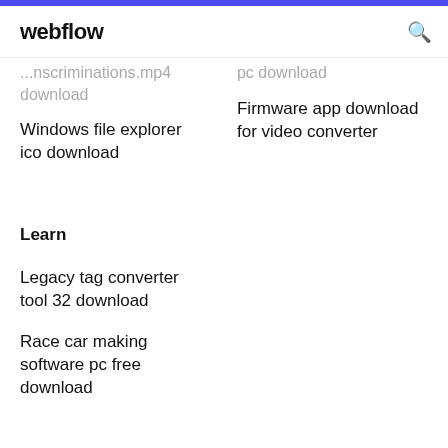webflow
...nscriminations.mp4 download
pc download
Windows file explorer ico download
Firmware app download for video converter
Learn
Legacy tag converter tool 32 download
Race car making software pc free download